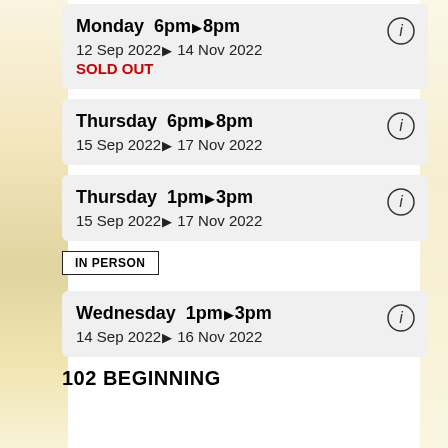Monday 6pm▶8pm
12 Sep 2022▶14 Nov 2022
SOLD OUT
Thursday 6pm▶8pm
15 Sep 2022▶17 Nov 2022
Thursday 1pm▶3pm
15 Sep 2022▶17 Nov 2022
IN PERSON
Wednesday 1pm▶3pm
14 Sep 2022▶16 Nov 2022
102 BEGINNING